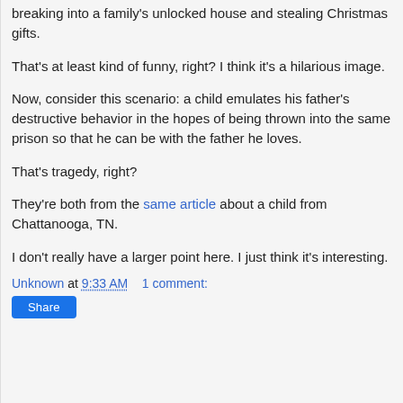breaking into a family's unlocked house and stealing Christmas gifts.
That's at least kind of funny, right? I think it's a hilarious image.
Now, consider this scenario: a child emulates his father's destructive behavior in the hopes of being thrown into the same prison so that he can be with the father he loves.
That's tragedy, right?
They're both from the same article about a child from Chattanooga, TN.
I don't really have a larger point here. I just think it's interesting.
Unknown at 9:33 AM    1 comment:
Share